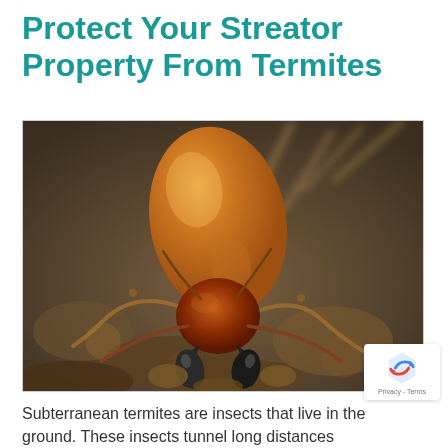Protect Your Streator Property From Termites
[Figure (photo): Close-up macro photograph of a termite showing its amber/orange translucent body, dark mandibles (jaws), and legs, on a brown soil/wood background.]
Subterranean termites are insects that live in the ground. These insects tunnel long distances